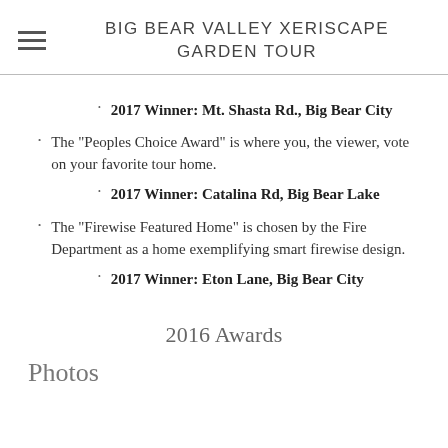BIG BEAR VALLEY XERISCAPE GARDEN TOUR
2017 Winner: Mt. Shasta Rd., Big Bear City
The "Peoples Choice Award" is where you, the viewer, vote on your favorite tour home.
2017 Winner: Catalina Rd, Big Bear Lake
The "Firewise Featured Home" is chosen by the Fire Department as a home exemplifying smart firewise design.
2017 Winner: Eton Lane, Big Bear City
2016 Awards
Photos